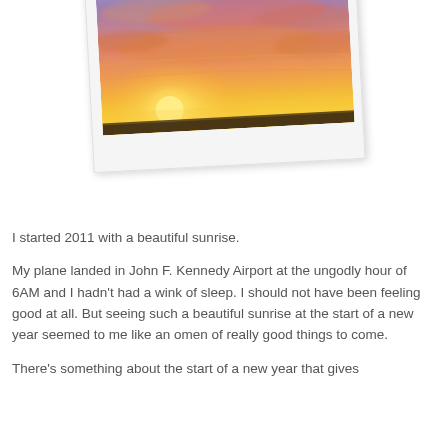[Figure (photo): A polaroid-style photograph of a vibrant sunrise sky with orange, yellow, pink, and blue tones, tilted slightly to the left.]
I started 2011 with a beautiful sunrise.
My plane landed in John F. Kennedy Airport at the ungodly hour of 6AM and I hadn't had a wink of sleep. I should not have been feeling good at all. But seeing such a beautiful sunrise at the start of a new year seemed to me like an omen of really good things to come.
There's something about the start of a new year that gives